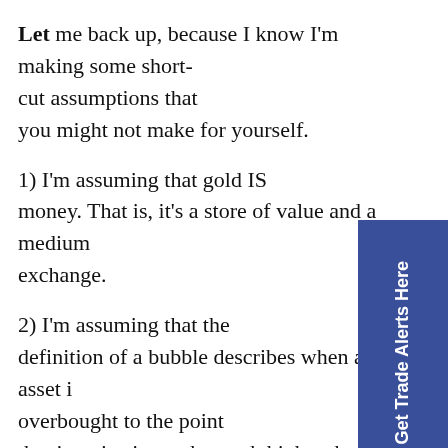Let me back up, because I know I'm making some shortcut assumptions that you might not make for yourself.
1) I'm assuming that gold IS money. That is, it's a store of value and a medium of exchange.
2) I'm assuming that the definition of a bubble describes when an asset is overbought to the point that its price is much, much higher than it should be.
3) If I can safely make these